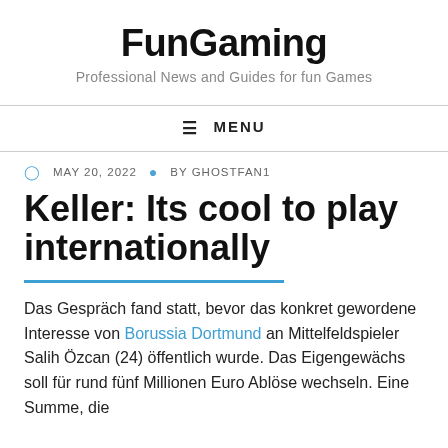FunGaming
Professional News and Guides for fun Games
≡ MENU
MAY 20, 2022  BY GHOSTFAN1
Keller: Its cool to play internationally
Das Gespräch fand statt, bevor das konkret gewordene Interesse von Borussia Dortmund an Mittelfeldspieler Salih Özcan (24) öffentlich wurde. Das Eigengewächs soll für rund fünf Millionen Euro Ablöse wechseln. Eine Summe, die